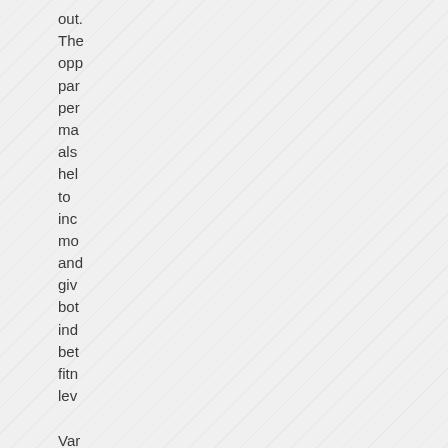out. The opportunity participants perceived may also help to increase motivation and give both individuals better fitness levels. Varying your exercise routine can assess